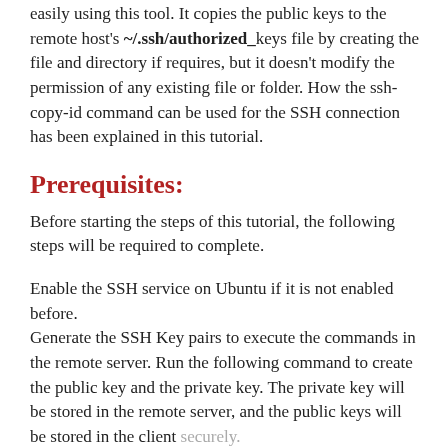easily using this tool. It copies the public keys to the remote host's ~/.ssh/authorized_keys file by creating the file and directory if requires, but it doesn't modify the permission of any existing file or folder. How the ssh-copy-id command can be used for the SSH connection has been explained in this tutorial.
Prerequisites:
Before starting the steps of this tutorial, the following steps will be required to complete.
Enable the SSH service on Ubuntu if it is not enabled before.
Generate the SSH Key pairs to execute the commands in the remote server. Run the following command to create the public key and the private key. The private key will be stored in the remote server, and the public keys will be stored in the client securely.